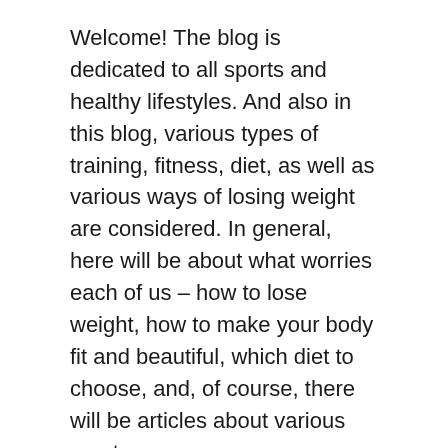Welcome! The blog is dedicated to all sports and healthy lifestyles. And also in this blog, various types of training, fitness, diet, as well as various ways of losing weight are considered. In general, here will be about what worries each of us – how to lose weight, how to make your body fit and beautiful, which diet to choose, and, of course, there will be articles about various sports.
About us
Contact
Privacy Policy & Cookies
ATTENTION TO RIGHT HOLDERS! All